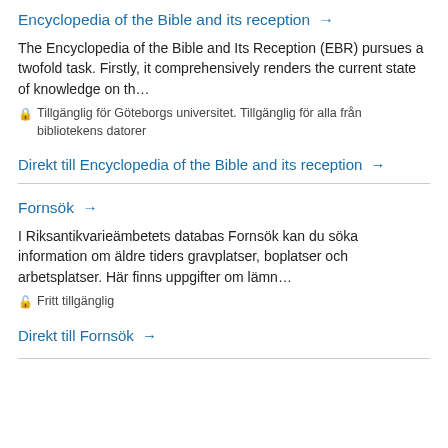Encyclopedia of the Bible and its reception →
The Encyclopedia of the Bible and Its Reception (EBR) pursues a twofold task. Firstly, it comprehensively renders the current state of knowledge on th…
🔒 Tillgänglig för Göteborgs universitet. Tillgänglig för alla från bibliotekens datorer
Direkt till Encyclopedia of the Bible and its reception →
Fornsök →
I Riksantikvarieämbetets databas Fornsök kan du söka information om äldre tiders gravplatser, boplatser och arbetsplatser. Här finns uppgifter om lämn…
🔓 Fritt tillgänglig
Direkt till Fornsök →